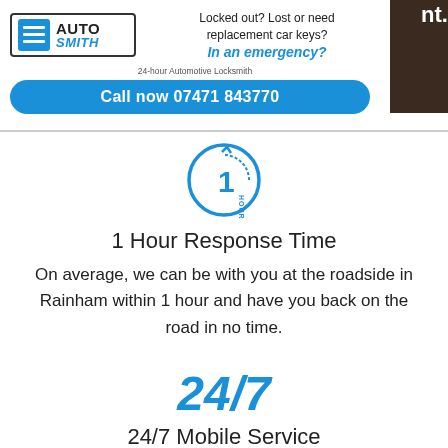nt.
[Figure (logo): AutoSmith 24-hour Automotive Locksmith logo with blue icon showing menu lines, bold AUTO text and italic SMITH in blue]
Locked out? Lost or need replacement car keys? In an emergency?
Call now 07471 843770
[Figure (illustration): Blue circular 1 Hour response time icon with arrow and HOUR text vertically along the right side]
1 Hour Response Time
On average, we can be with you at the roadside in Rainham within 1 hour and have you back on the road in no time.
24/7
24/7 Mobile Service